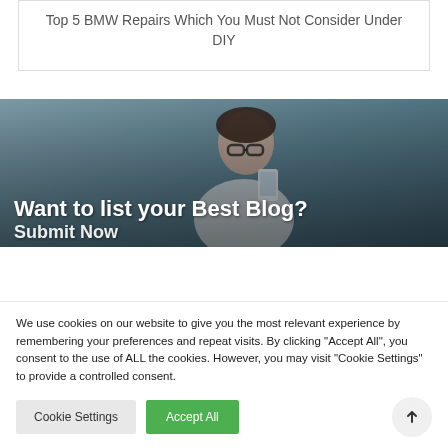Top 5 BMW Repairs Which You Must Not Consider Under DIY
[Figure (photo): Woman with glasses looking at a phone, used as banner background for a blog submission call-to-action]
Want to list your Best Blog?
Submit Now
We use cookies on our website to give you the most relevant experience by remembering your preferences and repeat visits. By clicking "Accept All", you consent to the use of ALL the cookies. However, you may visit "Cookie Settings" to provide a controlled consent.
Cookie Settings
Accept All